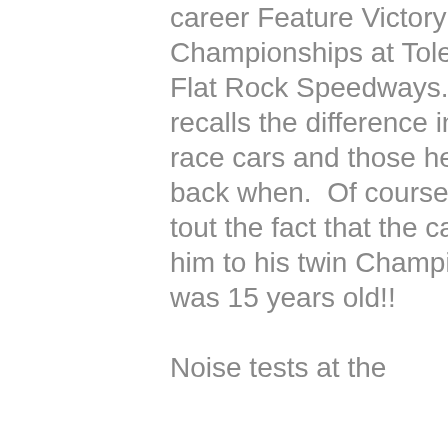celebrated his 50th career Feature Victory as well as Championships at Toledo and Flat Rock Speedways.  Ron recalls the difference in today's race cars and those he built way back when.  Of course he had to tout the fact that the car that took him to his twin Championships was 15 years old!!  Noise tests at the